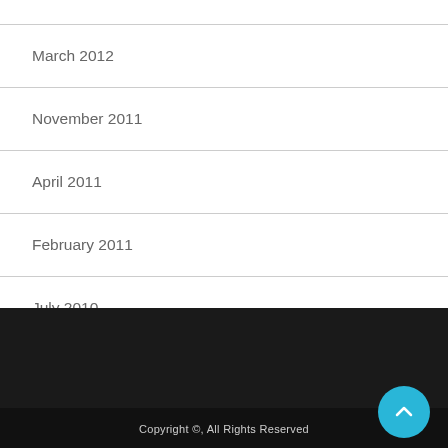March 2012
November 2011
April 2011
February 2011
July 2010
Copyright ©, All Rights Reserved